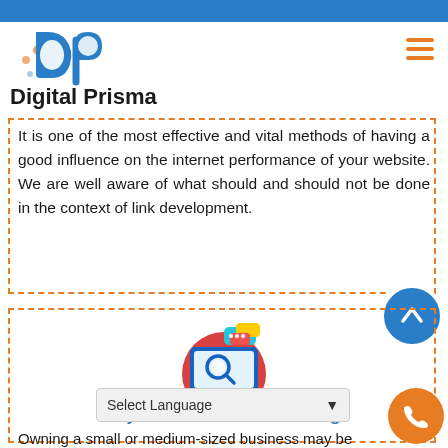[Figure (logo): Digital Prisma logo with blue 'dp' icon and bold text 'Digital Prisma']
It is one of the most effective and vital methods of having a good influence on the internet performance of your website. We are well aware of what should and should not be done in the context of link development.
[Figure (illustration): Icon of a computer monitor with a magnifying glass, colorful speech bubbles, on a circular background — representing keyword/SEO services]
Keywords Dominate Ranking
Owning a small or medium-sized business may be